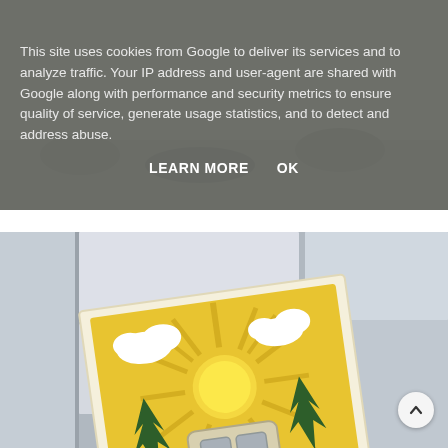This site uses cookies from Google to deliver its services and to analyze traffic. Your IP address and user-agent are shared with Google along with performance and security metrics to ensure quality of service, generate usage statistics, and to detect and address abuse.
LEARN MORE    OK
[Figure (photo): A decorative craft card with a sun, clouds, pine trees, and a vintage camper trailer, placed on top of stacks of books or binders in the background.]